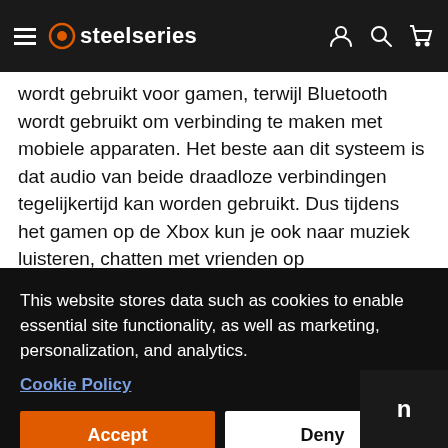steelseries
wordt gebruikt voor gamen, terwijl Bluetooth wordt gebruikt om verbinding te maken met mobiele apparaten. Het beste aan dit systeem is dat audio van beide draadloze verbindingen tegelijkertijd kan worden gebruikt. Dus tijdens het gamen op de Xbox kun je ook naar muziek luisteren, chatten met vrienden op
This website stores data such as cookies to enable essential site functionality, as well as marketing, personalization, and analytics.
Cookie Policy
Accept
Deny